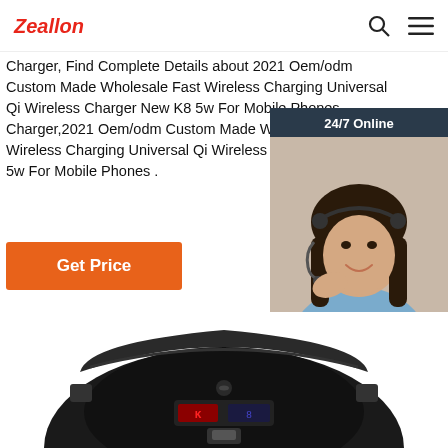Zeallon
Charger, Find Complete Details about 2021 Oem/odm Custom Made Wholesale Fast Wireless Charging Universal Qi Wireless Charger New K8 5w For Mobile Phones Charger,2021 Oem/odm Custom Made Wholesale Fast Wireless Charging Universal Qi Wireless Charger New K8 5w For Mobile Phones .
Get Price
[Figure (photo): 24/7 Online chat widget with a woman wearing a headset, with 'Click here for free chat!' text and a QUOTATION button]
[Figure (photo): Top-down view of a black circular wireless charger device (K8) with a red LED display and USB port visible]